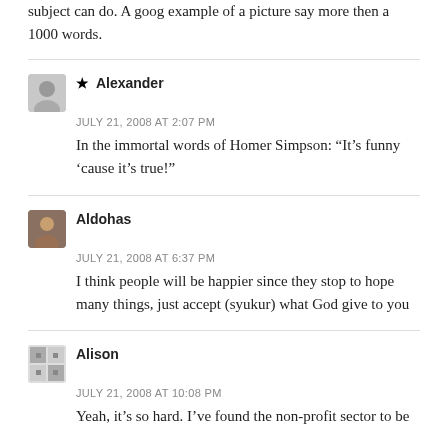subject can do. A goog example of a picture say more then a 1000 words.
★ Alexander
JULY 21, 2008 AT 2:07 PM
In the immortal words of Homer Simpson: “It’s funny ‘cause it’s true!”
Aldohas
JULY 21, 2008 AT 6:37 PM
I think people will be happier since they stop to hope many things, just accept (syukur) what God give to you
Alison
JULY 21, 2008 AT 10:08 PM
Yeah, it’s so hard. I’ve found the non-profit sector to be